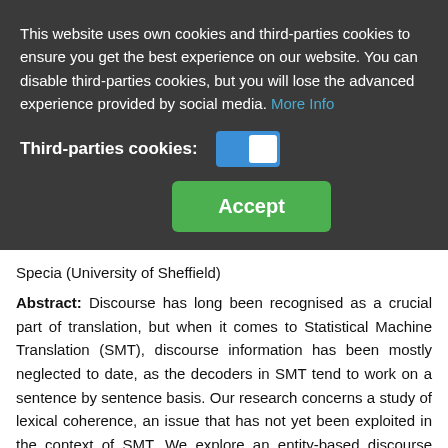This website uses own cookies and third-parties cookies to ensure you get the best experience on our website. You can disable third-parties cookies, but you will lose the advanced experience provided by social media. More Info
Third-parties cookies:
Accept
Specia (University of Sheffield)
Abstract: Discourse has long been recognised as a crucial part of translation, but when it comes to Statistical Machine Translation (SMT), discourse information has been mostly neglected to date, as the decoders in SMT tend to work on a sentence by sentence basis. Our research concerns a study of lexical coherence, an issue that has not yet been exploited in the context of SMT. We explore an entity-based discourse framework, applying it for the first time in a multilingual context, aiming to: (i) examine whether human- authored texts offer different patterns of entities